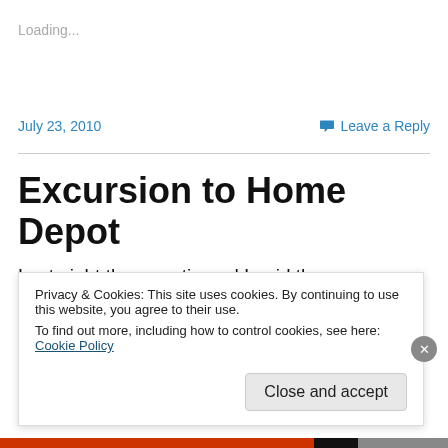Loading...
July 23, 2010
💬 Leave a Reply
Excursion to Home Depot
Last night the sweetie and I paid the neighborhood Home Depot a visit. While there, I spied my favorite bathroom faucet on clearance ON CLEARANCE!!! I was very excited b
Privacy & Cookies: This site uses cookies. By continuing to use this website, you agree to their use.
To find out more, including how to control cookies, see here: Cookie Policy
Close and accept